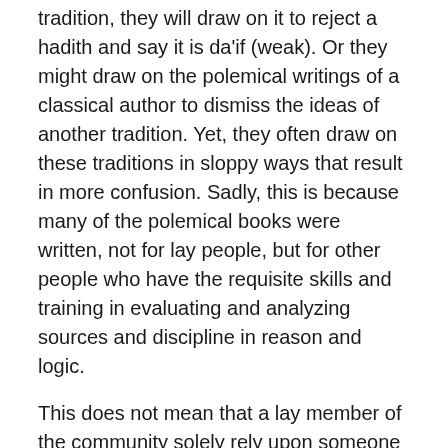tradition, they will draw on it to reject a hadith and say it is da'if (weak). Or they might draw on the polemical writings of a classical author to dismiss the ideas of another tradition. Yet, they often draw on these traditions in sloppy ways that result in more confusion. Sadly, this is because many of the polemical books were written, not for lay people, but for other people who have the requisite skills and training in evaluating and analyzing sources and discipline in reason and logic.
This does not mean that a lay member of the community solely rely upon someone else's critical thinking, rather that we recognize our own limitations in our knowledge and training and leave open some room for ambiguity. Perhaps we shouldn't be so willing to condemn others if we don't have the skills to even assess the validity of their stances. This requires humility which many, me included,